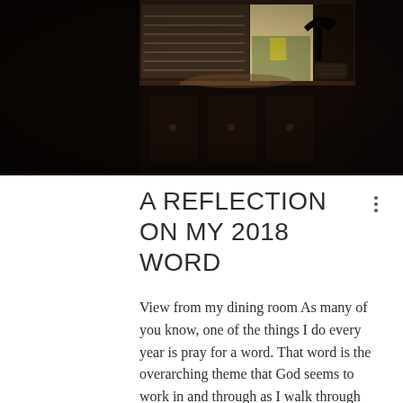[Figure (photo): Interior room photo showing a dark wooden sideboard or console table near a window with white plantation shutters. A desk lamp and wicker basket are visible on the surface. Natural light comes through the window showing outdoor greenery. Dark, moody lighting overall.]
A REFLECTION ON MY 2018 WORD
View from my dining room As many of you know, one of the things I do every year is pray for a word. That word is the overarching theme that God seems to work in and through as I walk through